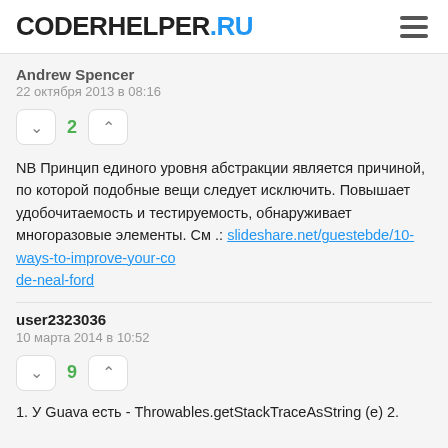CODERHELPER.RU
Andrew Spencer
22 октября 2013 в 08:16
2
NB Принцип единого уровня абстракции является причиной, по которой подобные вещи следует исключить. Повышает удобочитаемость и тестируемость, обнаруживает многоразовые элементы. См .: slideshare.net/guestebde/10-ways-to-improve-your-code-neal-ford
user2323036
10 марта 2014 в 10:52
9
1. У Guava есть - Throwables.getStackTraceAsString (е) 2.